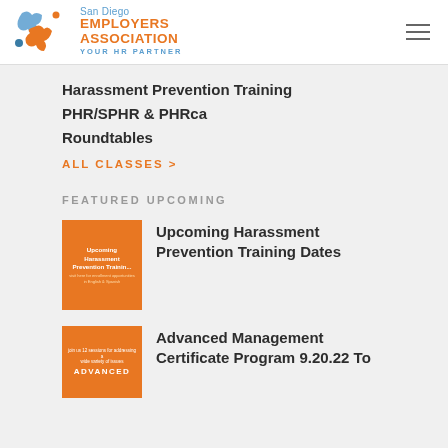[Figure (logo): San Diego Employers Association logo with interlocking puzzle pieces icon in orange, blue, and teal. Text reads 'San Diego EMPLOYERS ASSOCIATION YOUR HR PARTNER']
Harassment Prevention Training
PHR/SPHR & PHRca
Roundtables
ALL CLASSES >
FEATURED UPCOMING
[Figure (illustration): Orange thumbnail image for 'Upcoming Harassment Prevention Training' course]
Upcoming Harassment Prevention Training Dates
[Figure (illustration): Orange thumbnail image for 'Advanced Management Certificate Program' course]
Advanced Management Certificate Program 9.20.22 To